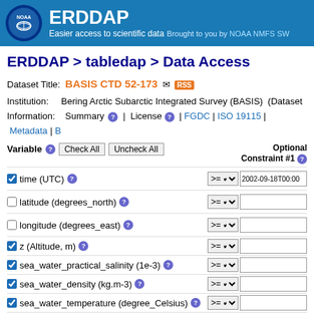ERDDAP — Easier access to scientific data — Brought to you by NOAA NMFS SW
ERDDAP > tabledap > Data Access
Dataset Title: BASIS CTD 52-173
Institution: Bering Arctic Subarctic Integrated Survey (BASIS) (Dataset…)
Information: Summary | License | FGDC | ISO 19115 | Metadata | B…
Variable | Check All | Uncheck All — Optional Constraint #1
☑ time (UTC) — >= — 2002-09-18T00:00
☐ latitude (degrees_north)
☐ longitude (degrees_east)
☑ z (Altitude, m)
☑ sea_water_practical_salinity (1e-3)
☑ sea_water_density (kg.m-3)
☑ sea_water_temperature (degree_Celsius)
☐ station (BASIS CTD 52-173)